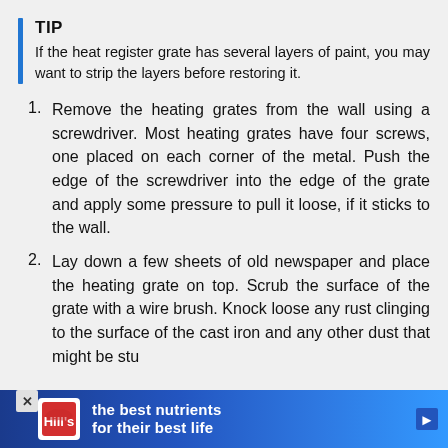TIP
If the heat register grate has several layers of paint, you may want to strip the layers before restoring it.
Remove the heating grates from the wall using a screwdriver. Most heating grates have four screws, one placed on each corner of the metal. Push the edge of the screwdriver into the edge of the grate and apply some pressure to pull it loose, if it sticks to the wall.
Lay down a few sheets of old newspaper and place the heating grate on top. Scrub the surface of the grate with a wire brush. Knock loose any rust clinging to the surface of the cast iron and any other dust that might be stu
[Figure (infographic): Advertisement banner for Hill's pet nutrition: 'the best nutrients for their best life' with Hill's logo on blue gradient background]